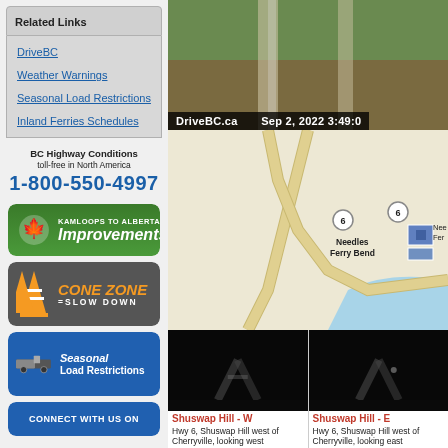Related Links
DriveBC
Weather Warnings
Seasonal Load Restrictions
Inland Ferries Schedules
BC Highway Conditions toll-free in North America 1-800-550-4997
[Figure (infographic): Kamloops to Alberta Improvements banner with maple leaf logo]
[Figure (infographic): Cone Zone = Slow Down banner with orange cones]
[Figure (infographic): Seasonal Load Restrictions banner with truck icon]
[Figure (infographic): Connect with us on social media banner]
[Figure (photo): Road camera still from DriveBC.ca showing highway, Sep 2, 2022 3:49]
DriveBC.ca    Sep 2, 2022 3:49:0
[Figure (map): Map showing Highway 6 and Needles Ferry Bend area]
[Figure (photo): Night road camera image looking west on Hwy 6 Shuswap Hill]
[Figure (photo): Night road camera image looking east on Hwy 6 Shuswap Hill]
Shuswap Hill - W
Hwy 6, Shuswap Hill west of Cherryville, looking west
Shuswap Hill - E
Hwy 6, Shuswap Hill west of Cherryville, looking east